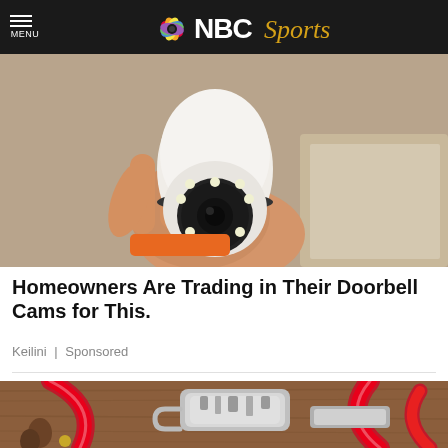MENU | NBC Sports
[Figure (photo): A hand holding a white spherical security camera with LED ring, partially unboxed]
Homeowners Are Trading in Their Doorbell Cams for This.
Keilini | Sponsored
[Figure (photo): A multi-tool carabiner keychain tool on a wooden surface decorated with red ribbons and pine cones]